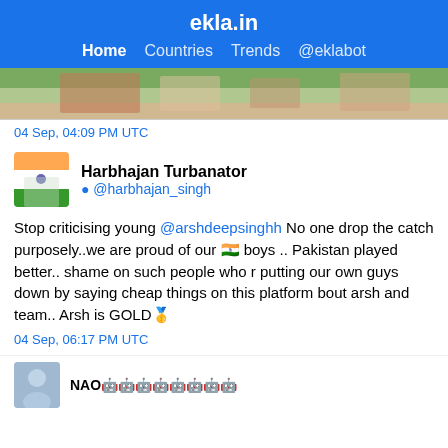ekla.in
Home  Countries  Trends  @eklabot
[Figure (photo): Cropped photo of cricket players on a field, partial bottom of image visible]
04 Sep, 04:09 PM UTC
Harbhajan Turbanator @harbhajan_singh
Stop criticising young @arshdeepsinghh No one drop the catch purposely..we are proud of our 🇮🇳 boys .. Pakistan played better.. shame on such people who r putting our own guys down by saying cheap things on this platform bout arsh and team.. Arsh is GOLD🥇
04 Sep, 06:17 PM UTC
NAO...